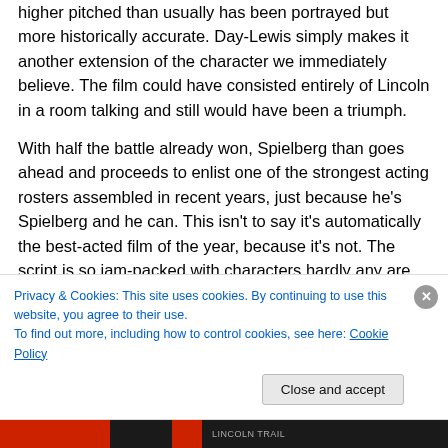higher pitched than usually has been portrayed but more historically accurate. Day-Lewis simply makes it another extension of the character we immediately believe. The film could have consisted entirely of Lincoln in a room talking and still would have been a triumph.
With half the battle already won, Spielberg than goes ahead and proceeds to enlist one of the strongest acting rosters assembled in recent years, just because he's Spielberg and he can. This isn't to say it's automatically the best-acted film of the year, because it's not. The script is so jam-packed with characters hardly any are given
Privacy & Cookies: This site uses cookies. By continuing to use this website, you agree to their use.
To find out more, including how to control cookies, see here: Cookie Policy